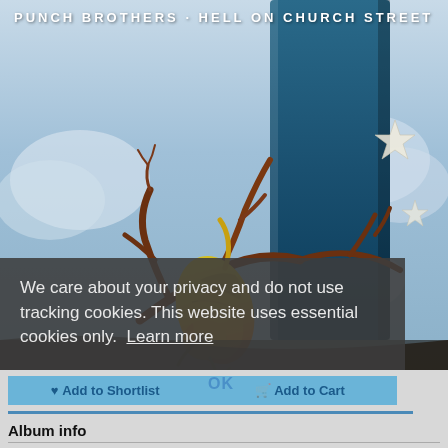[Figure (illustration): Album cover art for Punch Brothers - Hell on Church Street. Shows a yellow-orange bird with dark eye perched on bare brown branches against a deep teal/blue rectangular shape, surrounded by sky with clouds. A star shape visible on the right.]
PUNCH BROTHERS · HELL ON CHURCH STREET
We care about your privacy and do not use tracking cookies. This website uses essential cookies only. Learn more
OK
♥ Add to Shortlist
🛒 Add to Cart
Album info
Album-Release:
HRA-Release: